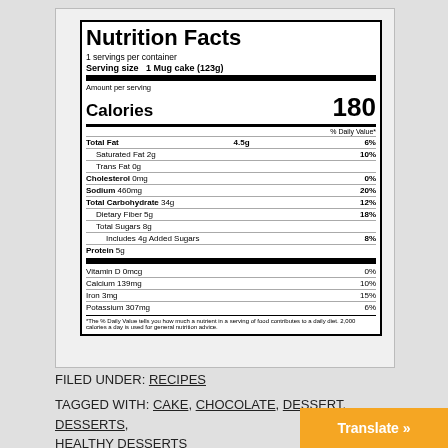[Figure (other): Nutrition Facts label for 1 Mug cake (123g), 1 serving per container, 180 Calories. Total Fat 4.5g 6%, Saturated Fat 2g 10%, Trans Fat 0g, Cholesterol 0mg 0%, Sodium 460mg 20%, Total Carbohydrate 34g 12%, Dietary Fiber 5g 18%, Total Sugars 8g, Includes 4g Added Sugars 8%, Protein 5g, Vitamin D 0mcg 0%, Calcium 139mg 10%, Iron 3mg 15%, Potassium 307mg 6%.]
FILED UNDER: RECIPES
TAGGED WITH: CAKE, CHOCOLATE, DESSERT, DESSERTS, HEALTHY DESSERTS